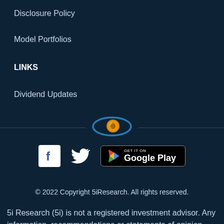Disclosure Policy
Model Portfolios
LINKS
Dividend Updates
[Figure (logo): 5iResearch eye logo with blue ellipse and orange coin]
[Figure (logo): Social icons: Facebook, Twitter, and Google Play badge]
© 2022 Copyright 5iResearch. All rights reserved.
5i Research (5i) is not a registered investment advisor. Any information, recommendations or statements of opinion provided here and throughout the 5i website are for genera